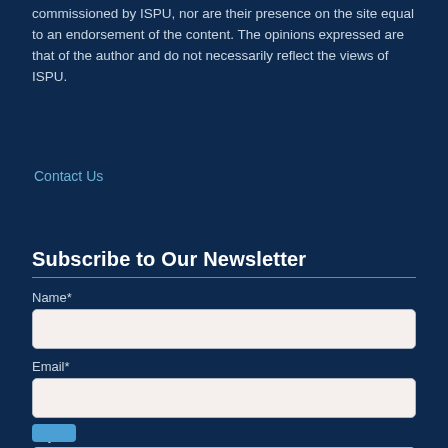commissioned by ISPU, nor are their presence on the site equal to an endorsement of the content. The opinions expressed are that of the author and do not necessarily reflect the views of ISPU.
Contact Us
Subscribe to Our Newsletter
Name*
Email*
City*
State
State Code